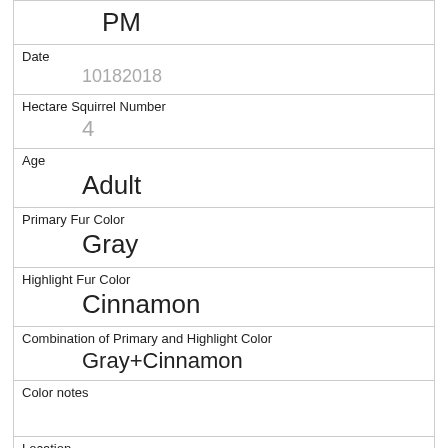| PM |
| Date | 10182018 |
| Hectare Squirrel Number | 4 |
| Age | Adult |
| Primary Fur Color | Gray |
| Highlight Fur Color | Cinnamon |
| Combination of Primary and Highlight Color | Gray+Cinnamon |
| Color notes |  |
| Location | Ground Plane |
| Above Ground Sighter Measurement | FALSE |
| Specific Location |  |